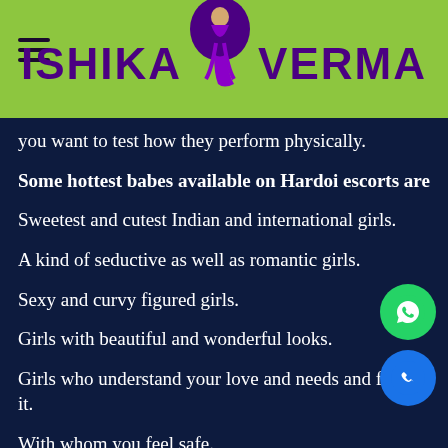ISHIKA VERMA
you want to test how they perform physically.
Some hottest babes available on Hardoi escorts are
Sweetest and cutest Indian and international girls.
A kind of seductive as well as romantic girls.
Sexy and curvy figured girls.
Girls with beautiful and wonderful looks.
Girls who understand your love and needs and fulfil it.
With whom you feel safe.
Some babies type appearance girls with hot and sizzling figures and looks.